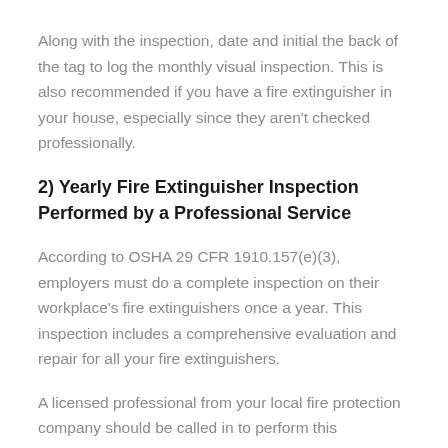Along with the inspection, date and initial the back of the tag to log the monthly visual inspection. This is also recommended if you have a fire extinguisher in your house, especially since they aren't checked professionally.
2) Yearly Fire Extinguisher Inspection Performed by a Professional Service
According to OSHA 29 CFR 1910.157(e)(3), employers must do a complete inspection on their workplace's fire extinguishers once a year. This inspection includes a comprehensive evaluation and repair for all your fire extinguishers.
A licensed professional from your local fire protection company should be called in to perform this maintenance check. Any parts of the